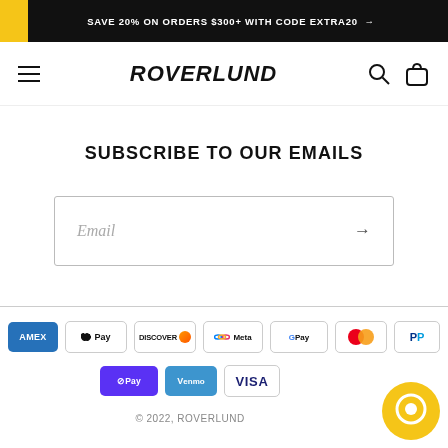SAVE 20% ON ORDERS $300+ WITH CODE EXTRA20 →
[Figure (logo): Roverlund brand logo with hamburger menu, search icon, and bag icon in navigation bar]
SUBSCRIBE TO OUR EMAILS
Email (input field with submit arrow)
[Figure (infographic): Payment method icons: Amex, Apple Pay, Discover, Meta Pay, Google Pay, Mastercard, PayPal, Shop Pay, Venmo, Visa]
© 2022, ROVERLUND